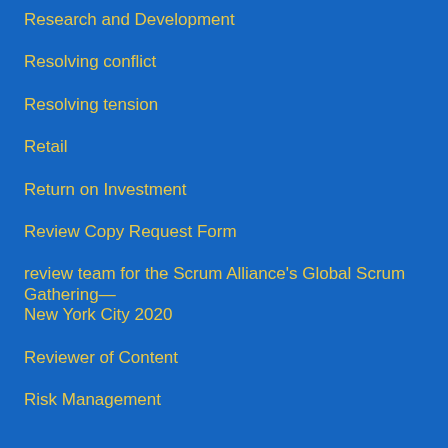Research and Development
Resolving conflict
Resolving tension
Retail
Return on Investment
Review Copy Request Form
review team for the Scrum Alliance's Global Scrum Gathering—New York City 2020
Reviewer of Content
Risk Management